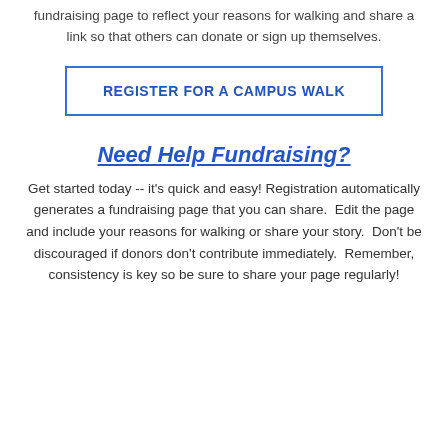fundraising page to reflect your reasons for walking and share a link so that others can donate or sign up themselves.
REGISTER FOR A CAMPUS WALK
Need Help Fundraising?
Get started today -- it's quick and easy! Registration automatically generates a fundraising page that you can share.  Edit the page and include your reasons for walking or share your story.  Don't be discouraged if donors don't contribute immediately.  Remember, consistency is key so be sure to share your page regularly!